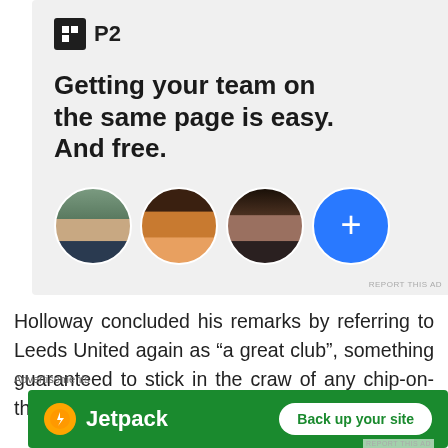[Figure (screenshot): P2 advertisement banner with logo, headline 'Getting your team on the same page is easy. And free.' and three circular avatar photos plus a blue plus button]
Holloway concluded his remarks by referring to Leeds United again as “a great club”, something guaranteed to stick in the craw of any chip-on-the-shoulder home fan.
[Figure (screenshot): Jetpack advertisement banner with green background, Jetpack logo, and 'Back up your site' button]